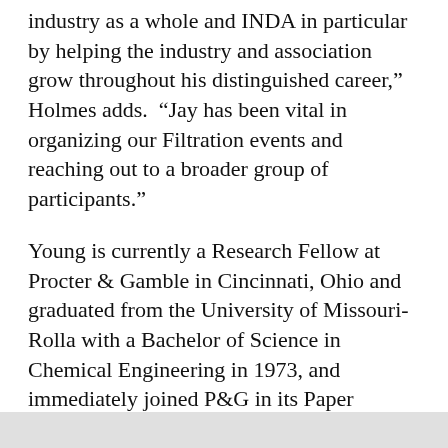industry as a whole and INDA in particular by helping the industry and association grow throughout his distinguished career,” Holmes adds. “Jay has been vital in organizing our Filtration events and reaching out to a broader group of participants.”
Young is currently a Research Fellow at Procter & Gamble in Cincinnati, Ohio and graduated from the University of Missouri-Rolla with a Bachelor of Science in Chemical Engineering in 1973, and immediately joined P&G in its Paper Division. According to INDA, among Young’s professional achievements is the development of new nonwoven uses in baby and feminine hygiene products, home care products and paper products, as well as process improvements and discoveries along the way in those areas.